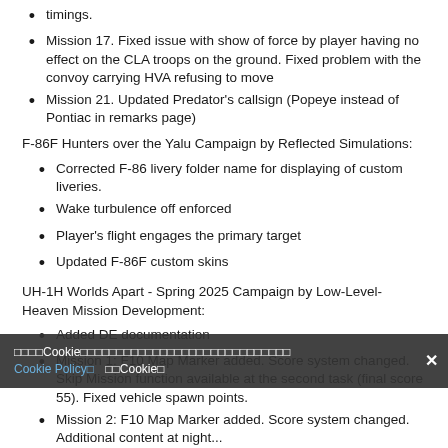timings.
Mission 17. Fixed issue with show of force by player having no effect on the CLA troops on the ground. Fixed problem with the convoy carrying HVA refusing to move
Mission 21. Updated Predator’s callsign (Popeye instead of Pontiac in remarks page)
F-86F Hunters over the Yalu Campaign by Reflected Simulations:
Corrected F-86 livery folder name for displaying of custom liveries.
Wake turbulence off enforced
Player’s flight engages the primary target
Updated F-86F custom skins
UH-1H Worlds Apart - Spring 2025 Campaign by Low-Level-Heaven Mission Development:
Added DE documentation
Mission 1: F10 Map Marker added. Score system changed. Skip Mission function available at the second task (final score 55). Fixed vehicle spawn points.
Mission 2: F10 Map Marker added. Score system changed. Added...